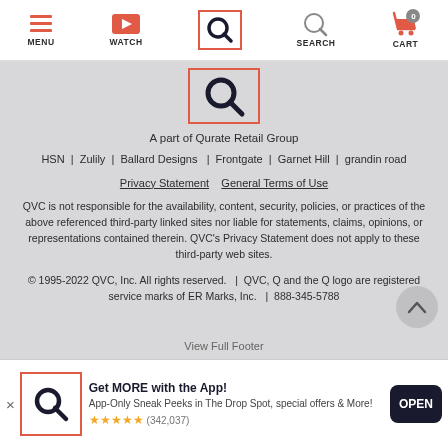[Figure (screenshot): QVC website navigation bar with MENU, WATCH, Q logo (highlighted in orange box), SEARCH, and CART icons]
[Figure (logo): QVC Q logo in orange outlined box]
A part of Qurate Retail Group
HSN | Zulily | Ballard Designs | Frontgate | Garnet Hill | grandin road
Privacy Statement   General Terms of Use
QVC is not responsible for the availability, content, security, policies, or practices of the above referenced third-party linked sites nor liable for statements, claims, opinions, or representations contained therein. QVC's Privacy Statement does not apply to these third-party web sites.
© 1995-2022 QVC, Inc. All rights reserved.  |  QVC, Q and the Q logo are registered service marks of ER Marks, Inc.  |  888-345-5788
View Full Footer
Get MORE with the App! App-Only Sneak Peeks in The Drop Spot, special offers & More! ★★★★★ (342,037)